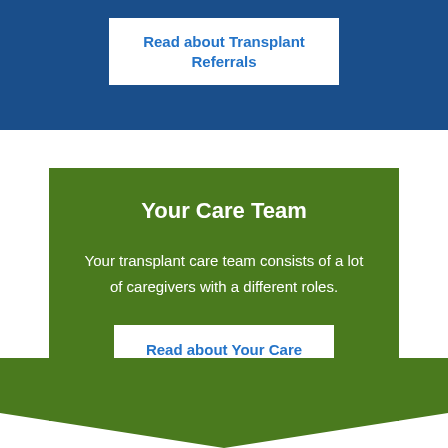Read about Transplant Referrals
Your Care Team
Your transplant care team consists of a lot of caregivers with a different roles.
Read about Your Care Team
[Figure (illustration): Green chevron/arrow shape pointing downward at the bottom of the page]